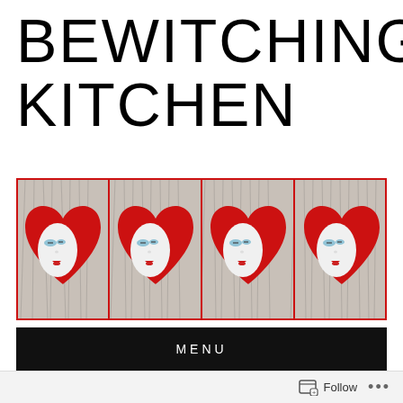BEWITCHING KITCHEN
[Figure (photo): Horizontal banner showing four repeated panels, each featuring a red heart-shaped cookie/ornament with a white face with blue eye shadow and red lips, set on a textured gray fur-like background, framed with a red border.]
MENU
20 FEB 2011
CORNMEAL ENGLISH MUFFINS